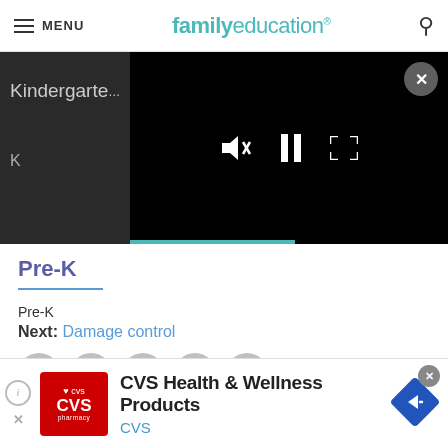MENU | familyeducation
[Figure (screenshot): Video player overlay on dark background with mute, pause, and expand controls. A teal progress bar at bottom. Close button (X) in top right. Left panel shows partially visible text 'Kindergarte...' and 'K'.]
Pre-K
Pre-K
Next: Damage control
[Figure (infographic): Social sharing buttons: Facebook, Pinterest, Twitter, Email, Save (heart/bookmark) — all grey circles]
Making Time for Arts & Crafts
[Figure (infographic): Advertisement banner: CVS Health & Wellness Products. CVS logo (red). Arrow icon (blue diamond). Close button. Play/i button and X on left.]